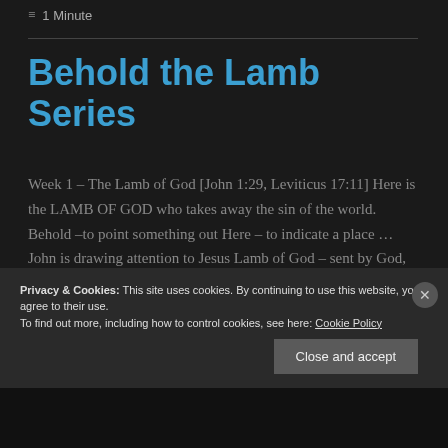≡ 1 Minute
Behold the Lamb Series
Week 1 – The Lamb of God [John 1:29, Leviticus 17:11] Here is the LAMB OF GOD who takes away the sin of the world. Behold –to point something out Here – to indicate a place … John is drawing attention to Jesus Lamb of God – sent by God, provided by God Takes
Privacy & Cookies: This site uses cookies. By continuing to use this website, you agree to their use.
To find out more, including how to control cookies, see here: Cookie Policy